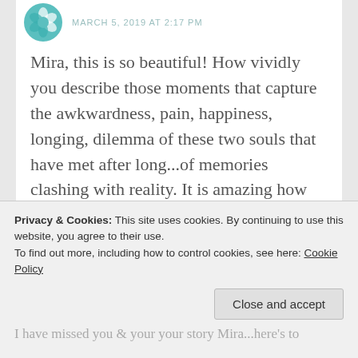MARCH 5, 2019 AT 2:17 PM
Mira, this is so beautiful! How vividly you describe those moments that capture the awkwardness, pain, happiness, longing, dilemma of these two souls that have met after long...of memories clashing with reality. It is amazing how someone or something can unravel memories that have been parked in the deepest recesses of the mind forever in just a moment...memories that one did not realize existed..
Privacy & Cookies: This site uses cookies. By continuing to use this website, you agree to their use.
To find out more, including how to control cookies, see here: Cookie Policy
I have missed you & your your story Mira...here's to